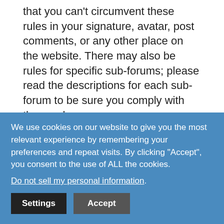that you can't circumvent these rules in your signature, avatar, post comments, or any other place on the website. There may also be rules for specific sub-forums; please read the descriptions for each sub-forum to be sure you comply with those rules.
Account-Specific Policies
No email addresses as usernames. If
We use cookies on our website to give you the most relevant experience by remembering your preferences and repeat visits. By clicking “Accept”, you consent to the use of ALL the cookies.
Do not sell my personal information.